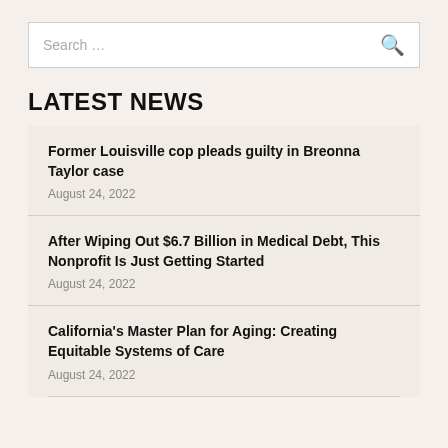Search …
LATEST NEWS
Former Louisville cop pleads guilty in Breonna Taylor case
August 24, 2022
After Wiping Out $6.7 Billion in Medical Debt, This Nonprofit Is Just Getting Started
August 24, 2022
California's Master Plan for Aging: Creating Equitable Systems of Care
August 24, 2022